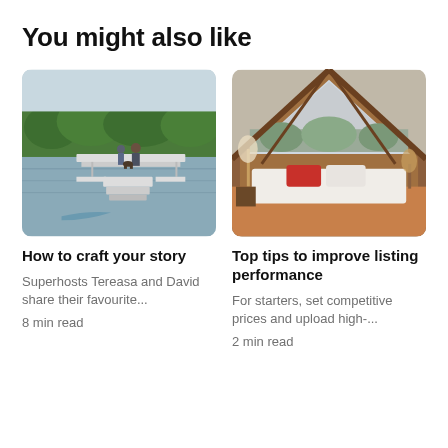You might also like
[Figure (photo): Two people and a dog standing on a white dock over a lake, surrounded by green trees]
[Figure (photo): Interior of an A-frame cabin with a large triangular window, a bed with red and white pillows, and warm wood tones]
How to craft your story
Superhosts Tereasa and David share their favourite...
8 min read
Top tips to improve listing performance
For starters, set competitive prices and upload high-...
2 min read